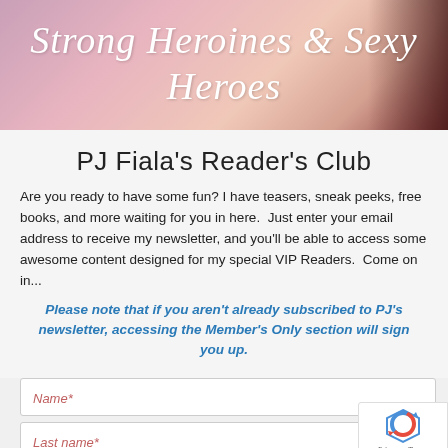[Figure (illustration): Pink and peach gradient banner header with script text 'Strong Heroines & Sexy Heroes' in white italic cursive font, with a dark silhouette shape on the right edge]
PJ Fiala's Reader's Club
Are you ready to have some fun? I have teasers, sneak peeks, free books, and more waiting for you in here.  Just enter your email address to receive my newsletter, and you'll be able to access some awesome content designed for my special VIP Readers.  Come on in...
Please note that if you aren't already subscribed to PJ's newsletter, accessing the Member's Only section will sign you up.
Name*
Last name*